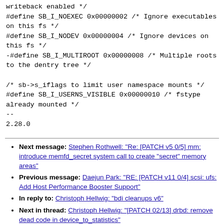writeback enabled */
#define SB_I_NOEXEC 0x00000002 /* Ignore executables on this fs */
#define SB_I_NODEV 0x00000004 /* Ignore devices on this fs */
-#define SB_I_MULTIROOT 0x00000008 /* Multiple roots to the dentry tree */

/* sb->s_iflags to limit user namespace mounts */
#define SB_I_USERNS_VISIBLE 0x00000010 /* fstype already mounted */
--
2.28.0
Next message: Stephen Rothwell: "Re: [PATCH v5 0/5] mm: introduce memfd_secret system call to create "secret" memory areas"
Previous message: Daejun Park: "RE: [PATCH v11 0/4] scsi: ufs: Add Host Performance Booster Support"
In reply to: Christoph Hellwig: "bdi cleanups v6"
Next in thread: Christoph Hellwig: "[PATCH 02/13] drbd: remove dead code in device_to_statistics"
Messages sorted by: [ date ] [ thread ] [ subject ] [ author ]